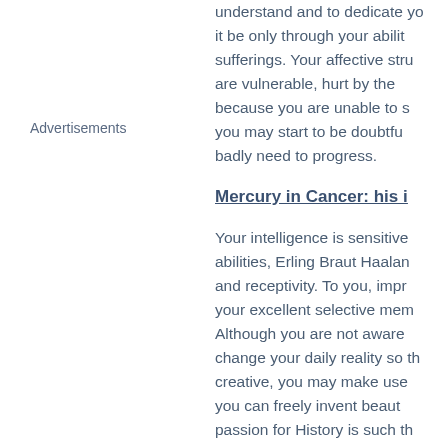understand and to dedicate yo... it be only through your abilit... sufferings. Your affective stru... are vulnerable, hurt by the... because you are unable to s... you may start to be doubtfu... badly need to progress.
Advertisements
Mercury in Cancer: his i...
Your intelligence is sensitive... abilities, Erling Braut Haalan... and receptivity. To you, impr... your excellent selective mem... Although you are not aware... change your daily reality so th... creative, you may make use... you can freely invent beaut... passion for History is such th... much nostalgia and therefor...